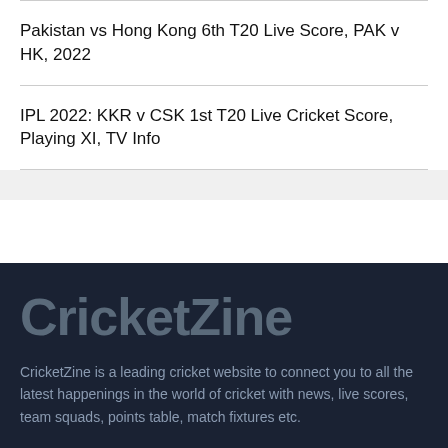Pakistan vs Hong Kong 6th T20 Live Score, PAK v HK, 2022
IPL 2022: KKR v CSK 1st T20 Live Cricket Score, Playing XI, TV Info
CricketZine
CricketZine is a leading cricket website to connect you to all the latest happenings in the world of cricket with news, live scores, team squads, points table, match fixtures etc.